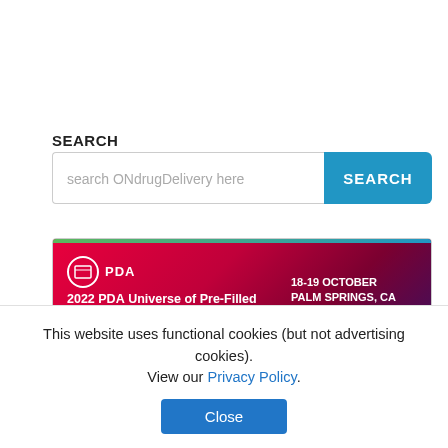SEARCH
[Figure (screenshot): Search input box with placeholder text 'search ONdrugDelivery here' and a blue SEARCH button]
advanced search
[Figure (infographic): PDA 2022 PDA Universe of Pre-Filled Syringes and Injection Devices Conference banner. 18-19 October, Palm Springs, CA. #PDAups]
10th February 2016
This website uses functional cookies (but not advertising cookies). View our Privacy Policy.
Close